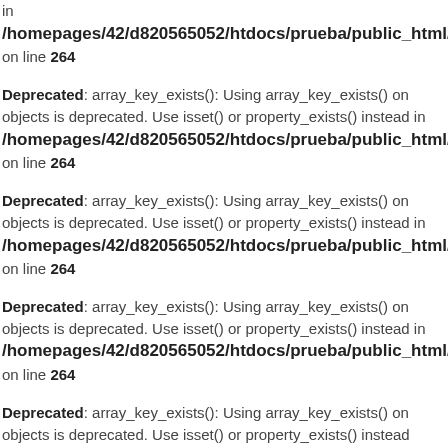in /homepages/42/d820565052/htdocs/prueba/public_html/ti… on line 264
Deprecated: array_key_exists(): Using array_key_exists() on objects is deprecated. Use isset() or property_exists() instead in /homepages/42/d820565052/htdocs/prueba/public_html/ti… on line 264
Deprecated: array_key_exists(): Using array_key_exists() on objects is deprecated. Use isset() or property_exists() instead in /homepages/42/d820565052/htdocs/prueba/public_html/ti… on line 264
Deprecated: array_key_exists(): Using array_key_exists() on objects is deprecated. Use isset() or property_exists() instead in /homepages/42/d820565052/htdocs/prueba/public_html/ti… on line 264
Deprecated: array_key_exists(): Using array_key_exists() on objects is deprecated. Use isset() or property_exists() instead